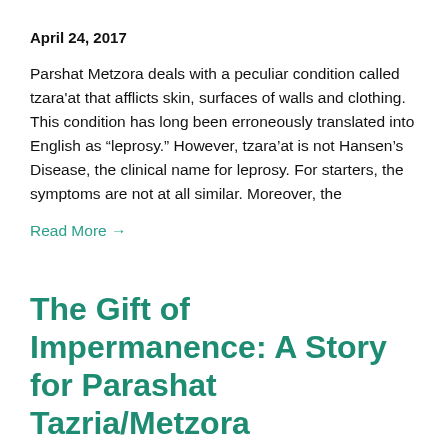April 24, 2017
Parshat Metzora deals with a peculiar condition called tzara'at that afflicts skin, surfaces of walls and clothing. This condition has long been erroneously translated into English as “leprosy.” However, tzara’at is not Hansen’s Disease, the clinical name for leprosy. For starters, the symptoms are not at all similar. Moreover, the
Read More →
The Gift of Impermanence: A Story for Parashat Tazria/Metzora
November 29, 2016
“Orit!” “Ori-i-i-t!” Her mother was calling, but Orit was